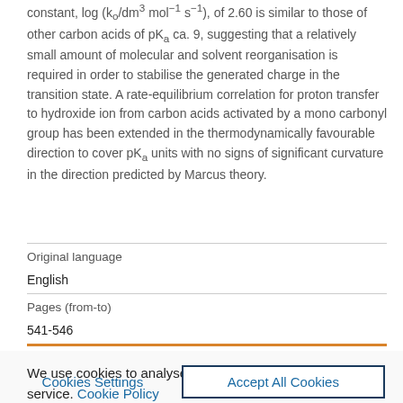constant, log (ko/dm3 mol-1 s-1), of 2.60 is similar to those of other carbon acids of pKa ca. 9, suggesting that a relatively small amount of molecular and solvent reorganisation is required in order to stabilise the generated charge in the transition state. A rate-equilibrium correlation for proton transfer to hydroxide ion from carbon acids activated by a mono carbonyl group has been extended in the thermodynamically favourable direction to cover pKa units with no signs of significant curvature in the direction predicted by Marcus theory.
| Original language |  |
| English |  |
| Pages (from-to) |  |
| 541-546 |  |
We use cookies to analyse and improve our service. Cookie Policy
Cookies Settings    Accept All Cookies